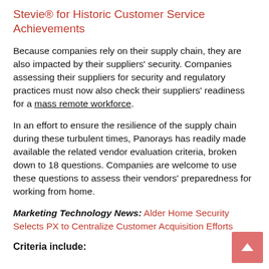Stevie® for Historic Customer Service Achievements
Because companies rely on their supply chain, they are also impacted by their suppliers' security. Companies assessing their suppliers for security and regulatory practices must now also check their suppliers' readiness for a mass remote workforce.
In an effort to ensure the resilience of the supply chain during these turbulent times, Panorays has readily made available the related vendor evaluation criteria, broken down to 18 questions. Companies are welcome to use these questions to assess their vendors' preparedness for working from home.
Marketing Technology News: Alder Home Security Selects PX to Centralize Customer Acquisition Efforts
Criteria include: